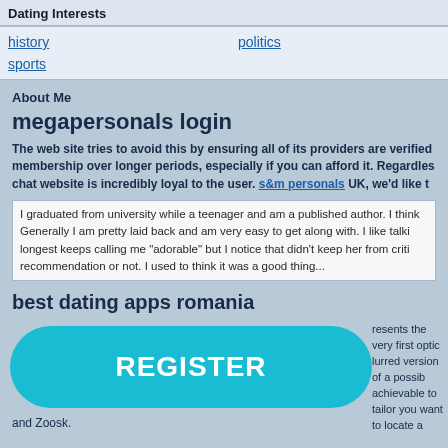Dating Interests
history
politics
sports
About Me
megapersonals login
The web site tries to avoid this by ensuring all of its providers are verified membership over longer periods, especially if you can afford it. Regardless chat website is incredibly loyal to the user. s&m personals UK, we'd like t
I graduated from university while a teenager and am a published author. I think Generally I am pretty laid back and am very easy to get along with. I like talki longest keeps calling me "adorable" but I notice that didn't keep her from criti recommendation or not. I used to think it was a good thing...
best dating apps romania
[Figure (screenshot): Register button - large teal rounded rectangle button with text REGISTER]
presents the very first optic lurred version of a possib achievable to tailor you want to locate a partner in l
and Zoosk.